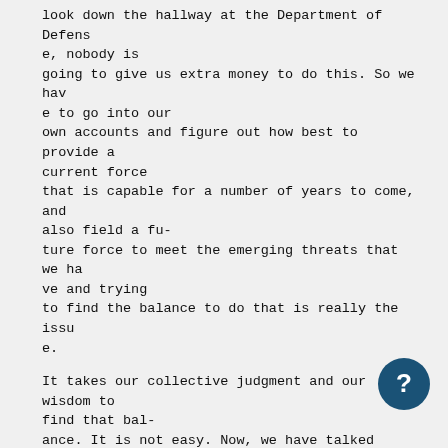look down the hallway at the Department of Defense, nobody is going to give us extra money to do this. So we have to go into our own accounts and figure out how best to provide a current force that is capable for a number of years to come, and also field a future force to meet the emerging threats that we have and trying to find the balance to do that is really the issue.
It takes our collective judgment and our wisdom to find that balance. It is not easy. Now, we have talked about it quite a bit and discussed it and analyzed it.
In the 24 systems that we terminated, which was another tough decision, we put them through some analysis. We wanted to know did those systems support Army transformation? Did the systems